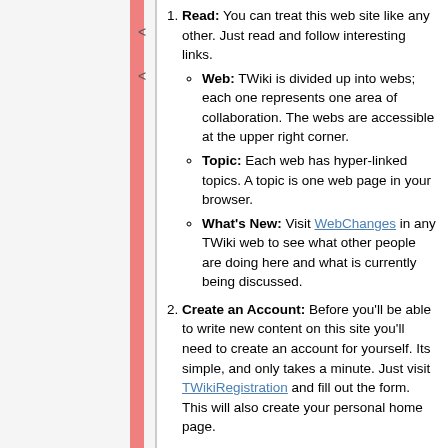Read: You can treat this web site like any other. Just read and follow interesting links.
Web: TWiki is divided up into webs; each one represents one area of collaboration. The webs are accessible at the upper right corner.
Topic: Each web has hyper-linked topics. A topic is one web page in your browser.
What's New: Visit WebChanges in any TWiki web to see what other people are doing here and what is currently being discussed.
Create an Account: Before you'll be able to write new content on this site you'll need to create an account for yourself. Its simple, and only takes a minute. Just visit TWikiRegistration and fill out the form. This will also create your personal home page.
Write: If you have something to say, you can and should (most of the time). Anyone can change or add to anything they see written in a TWiki topic. You can edit a topic from within your browser.